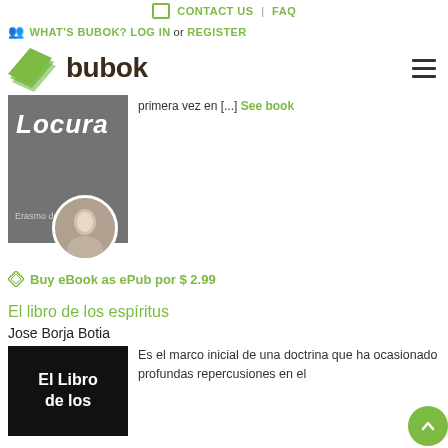CONTACT US | FAQ
WHAT'S BUBOK? LOG IN or REGISTER
[Figure (logo): Bubok logo with green stacked pages icon and dark brown text 'bubok']
[Figure (photo): Book cover showing 'Locura' by Erasmo de Ro... with author photo circle]
primera vez en [...] See book
Buy eBook as ePub por $ 2.99
El libro de los espíritus
Jose Borja Botia
[Figure (photo): Book cover showing 'El Libro de los' in white text on black background]
Es el marco inicial de una doctrina que ha ocasionado profundas repercusiones en el